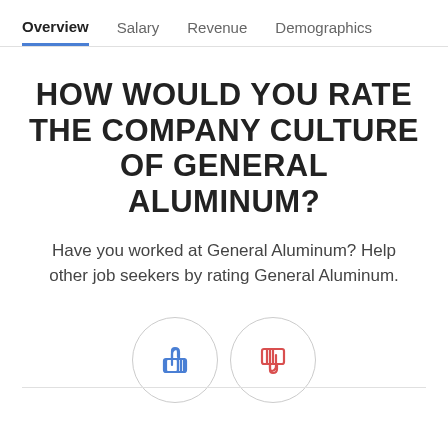Overview  Salary  Revenue  Demographics
HOW WOULD YOU RATE THE COMPANY CULTURE OF GENERAL ALUMINUM?
Have you worked at General Aluminum? Help other job seekers by rating General Aluminum.
[Figure (illustration): Two circular buttons side by side: a blue thumbs-up icon on the left and a red thumbs-down icon on the right, each inside a light gray circle border.]